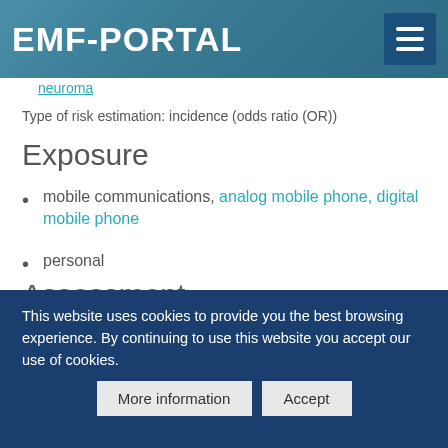EMF-PORTAL
neuroma
Type of risk estimation: incidence (odds ratio (OR))
Exposure
mobile communications, analog mobile phone, digital mobile phone
personal
Assessment
interview
This website uses cookies to provide you the best browsing experience. By continuing to use this website you accept our use of cookies.